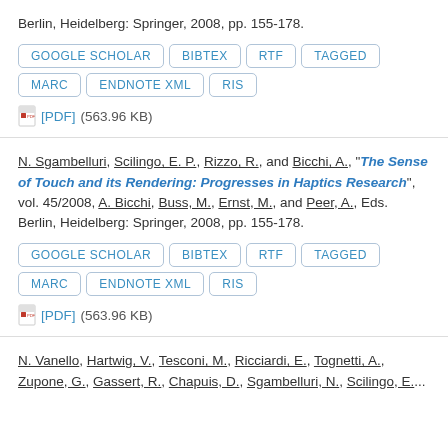Berlin, Heidelberg: Springer, 2008, pp. 155-178.
GOOGLE SCHOLAR | BIBTEX | RTF | TAGGED | MARC | ENDNOTE XML | RIS
[PDF] (563.96 KB)
N. Sgambelluri, Scilingo, E. P., Rizzo, R., and Bicchi, A., "The Sense of Touch and its Rendering: Progresses in Haptics Research", vol. 45/2008, A. Bicchi, Buss, M., Ernst, M., and Peer, A., Eds. Berlin, Heidelberg: Springer, 2008, pp. 155-178.
GOOGLE SCHOLAR | BIBTEX | RTF | TAGGED | MARC | ENDNOTE XML | RIS
[PDF] (563.96 KB)
N. Vanello, Hartwig, V., Tesconi, M., Ricciardi, E., Tognetti, A., Zupone, G., Gassert, R., Chapuis, D., Sgambelluri, N., Scilingo, E....